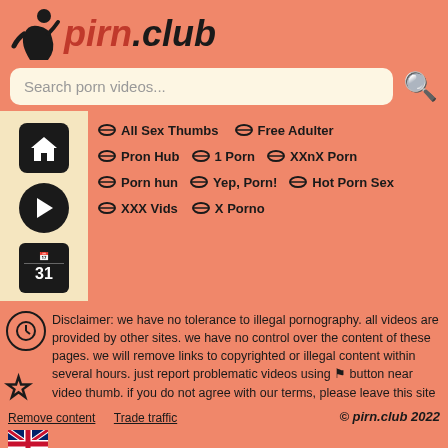[Figure (logo): pirn.club logo with silhouette figure and stylized text]
Search porn videos...
All Sex Thumbs
Free Adulter
Pron Hub
1 Porn
XXnX Porn
Porn hun
Yep, Porn!
Hot Porn Sex
XXX Vids
X Porno
Disclaimer: we have no tolerance to illegal pornography. all videos are provided by other sites. we have no control over the content of these pages. we will remove links to copyrighted or illegal content within several hours. just report problematic videos using flag button near video thumb. if you do not agree with our terms, please leave this site
Remove content   Trade traffic   © pirn.club 2022